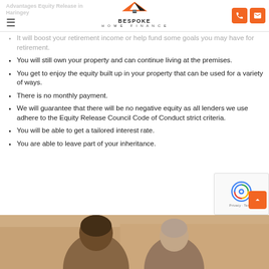Advantages Equity Release in Haringey — Bespoke Home Finance
It will boost your retirement income or help fund some goals you may have for retirement.
You will still own your property and can continue living at the premises.
You get to enjoy the equity built up in your property that can be used for a variety of ways.
There is no monthly payment.
We will guarantee that there will be no negative equity as all lenders we use adhere to the Equity Release Council Code of Conduct strict criteria.
You will be able to get a tailored interest rate.
You are able to leave part of your inheritance.
[Figure (photo): Two elderly people sitting together, partially visible at bottom of page]